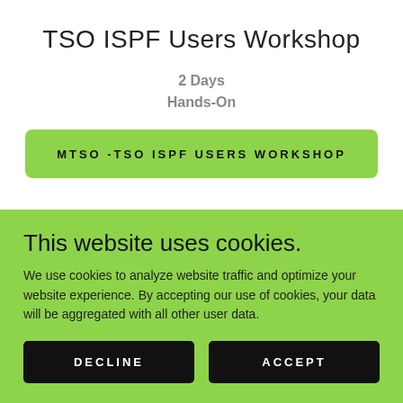TSO ISPF Users Workshop
2 Days
Hands-On
MTSO -TSO ISPF USERS WORKSHOP
This website uses cookies.
We use cookies to analyze website traffic and optimize your website experience. By accepting our use of cookies, your data will be aggregated with all other user data.
DECLINE
ACCEPT